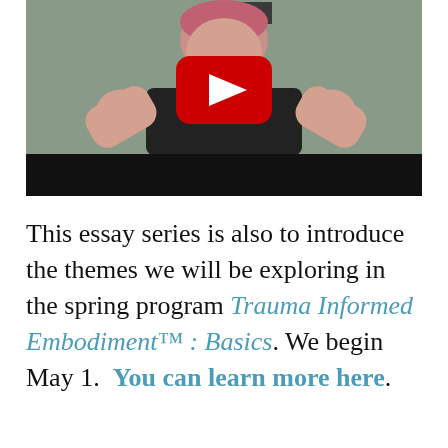[Figure (screenshot): A YouTube video thumbnail showing a person with pink hair wearing a black top, gesturing with both hands. A large red YouTube play button is overlaid in the center. The bottom portion of the video is a black bar.]
This essay series is also to introduce the themes we will be exploring in the spring program Trauma Informed Embodiment™ : Basics. We begin May 1.  You can learn more here.